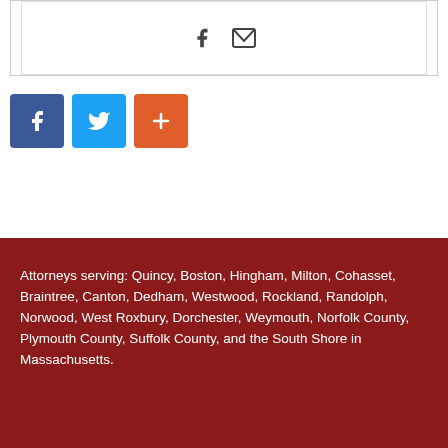[Figure (infographic): Social share bar with Facebook and email icons inside a bordered box]
[Figure (infographic): Three social sharing buttons: Facebook (blue), Twitter (light blue), and a plus/more button (orange)]
Attorneys serving: Quincy, Boston, Hingham, Milton, Cohasset, Braintree, Canton, Dedham, Westwood, Rockland, Randolph, Norwood, West Roxbury, Dorchester, Weymouth, Norfolk County, Plymouth County, Suffolk County, and the South Shore in Massachusetts.